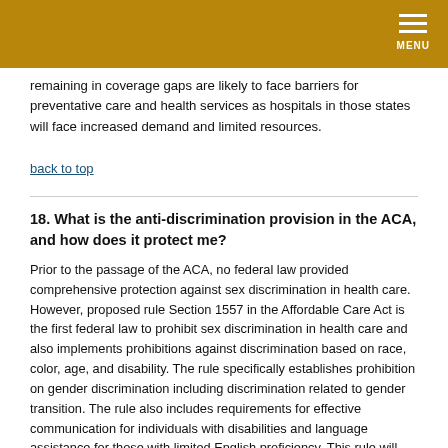MENU
remaining in coverage gaps are likely to face barriers for preventative care and health services as hospitals in those states will face increased demand and limited resources.
back to top
18. What is the anti-discrimination provision in the ACA, and how does it protect me?
Prior to the passage of the ACA, no federal law provided comprehensive protection against sex discrimination in health care. However, proposed rule Section 1557 in the Affordable Care Act is the first federal law to prohibit sex discrimination in health care and also implements prohibitions against discrimination based on race, color, age, and disability. The rule specifically establishes prohibition on gender discrimination including discrimination related to gender transition. The rule also includes requirements for effective communication for individuals with disabilities and language assistance for those with limited English proficiency. This rule will ensure equal access to health care to in order to advance wellness, prevention, and improved access to health care services.
The scope of this section protects individuals from discrimination by